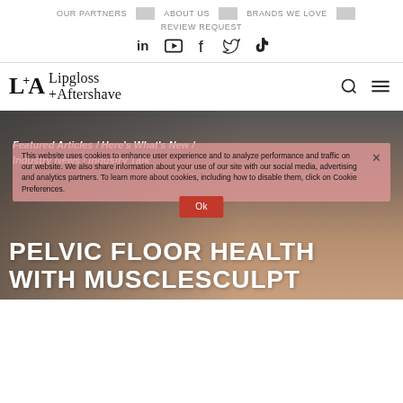OUR PARTNERS | ABOUT US | BRANDS WE LOVE | REVIEW REQUEST
[Figure (logo): Social media icons: LinkedIn, YouTube, Facebook, Twitter, TikTok]
[Figure (logo): Lipgloss +Aftershave logo with L+A monogram, search icon, and hamburger menu]
[Figure (photo): Hero image with dark overlay showing hands, with breadcrumb navigation overlay reading 'Featured Articles / Here's What's New / Industry News / Industry Talk', cookie consent banner, and title 'PELVIC FLOOR HEALTH WITH MUSCLESCULPT']
This website uses cookies to enhance user experience and to analyze performance and traffic on our website. We also share information about your use of our site with our social media, advertising and analytics partners. To learn more about cookies, including how to disable them, click on Cookie Preferences.
PELVIC FLOOR HEALTH WITH MUSCLESCULPT